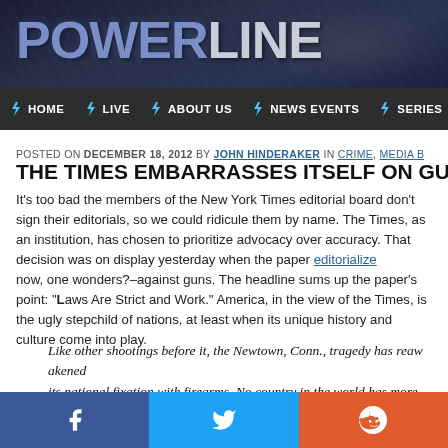POWERLINE
HOME  LIVE  ABOUT US  NEWS EVENTS  SERIES
POSTED ON DECEMBER 18, 2012 BY JOHN HINDERAKER IN CRIME, MEDIA B
THE TIMES EMBARRASSES ITSELF ON GUN
It’s too bad the members of the New York Times editorial board don’t sign their editorials, so we could ridicule them by name. The Times, as an institution, has chosen to prioritize advocacy over accuracy. That decision was on display yesterday when the paper editorialized—now, one wonders?–against guns. The headline sums up the paper’s point: “Laws Are Strict and Work.” America, in the view of the Times, is the ugly stepchild of nations, at least when its unique history and culture come into play.
Like other shootings before it, the Newtown, Conn., tragedy has reawakened its national fixation with firearms. No country in the world has more